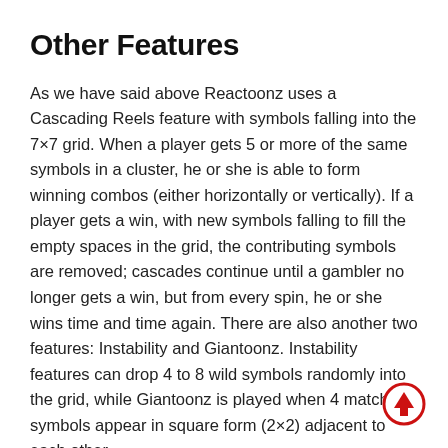Other Features
As we have said above Reactoonz uses a Cascading Reels feature with symbols falling into the 7×7 grid. When a player gets 5 or more of the same symbols in a cluster, he or she is able to form winning combos (either horizontally or vertically). If a player gets a win, with new symbols falling to fill the empty spaces in the grid, the contributing symbols are removed; cascades continue until a gambler no longer gets a win, but from every spin, he or she wins time and time again. There are also another two features: Instability and Giantoonz. Instability features can drop 4 to 8 wild symbols randomly into the grid, while Giantoonz is played when 4 matching symbols appear in square form (2×2) adjacent to each other.
[Figure (other): Red circle with upward arrow icon (scroll to top button)]